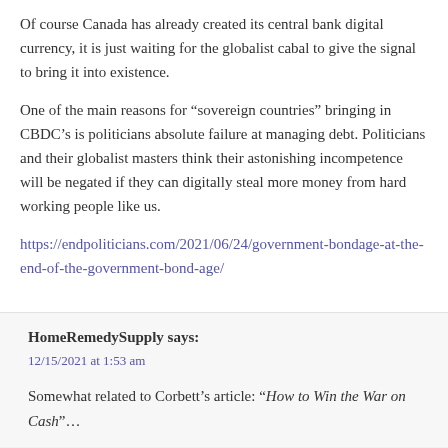Of course Canada has already created its central bank digital currency, it is just waiting for the globalist cabal to give the signal to bring it into existence.
One of the main reasons for “sovereign countries” bringing in CBDC’s is politicians absolute failure at managing debt. Politicians and their globalist masters think their astonishing incompetence will be negated if they can digitally steal more money from hard working people like us.
https://endpoliticians.com/2021/06/24/government-bondage-at-the-end-of-the-government-bond-age/
HomeRemedySupply says:
12/15/2021 at 1:53 am
Somewhat related to Corbett’s article: “How to Win the War on Cash”…